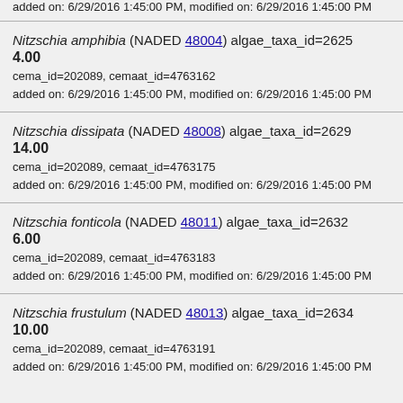added on: 6/29/2016 1:45:00 PM, modified on: 6/29/2016 1:45:00 PM
Nitzschia amphibia (NADED 48004) algae_taxa_id=2625
4.00
cema_id=202089, cemaat_id=4763162
added on: 6/29/2016 1:45:00 PM, modified on: 6/29/2016 1:45:00 PM
Nitzschia dissipata (NADED 48008) algae_taxa_id=2629
14.00
cema_id=202089, cemaat_id=4763175
added on: 6/29/2016 1:45:00 PM, modified on: 6/29/2016 1:45:00 PM
Nitzschia fonticola (NADED 48011) algae_taxa_id=2632
6.00
cema_id=202089, cemaat_id=4763183
added on: 6/29/2016 1:45:00 PM, modified on: 6/29/2016 1:45:00 PM
Nitzschia frustulum (NADED 48013) algae_taxa_id=2634
10.00
cema_id=202089, cemaat_id=4763191
added on: 6/29/2016 1:45:00 PM, modified on: 6/29/2016 1:45:00 PM